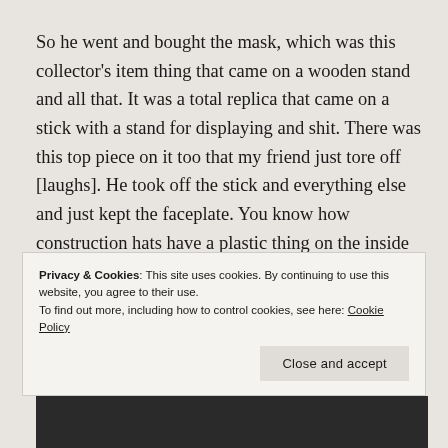So he went and bought the mask, which was this collector's item thing that came on a wooden stand and all that. It was a total replica that came on a stick with a stand for displaying and shit. There was this top piece on it too that my friend just tore off [laughs]. He took off the stick and everything else and just kept the faceplate. You know how construction hats have a plastic thing on the inside that you can tighten? Well,
Privacy & Cookies: This site uses cookies. By continuing to use this website, you agree to their use.
To find out more, including how to control cookies, see here: Cookie Policy
Close and accept
[Figure (photo): Dark/black image at the bottom of the page, partially visible]